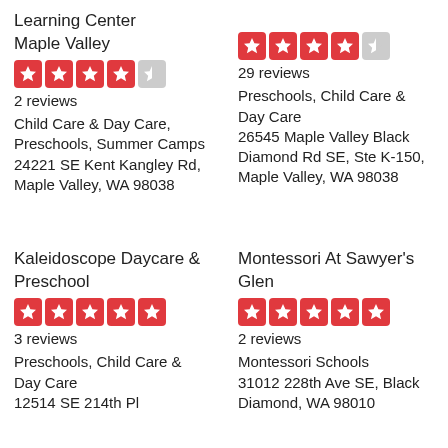Learning Center
Maple Valley
4.5 stars
2 reviews
Child Care & Day Care, Preschools, Summer Camps
24221 SE Kent Kangley Rd, Maple Valley, WA 98038
5 stars (partial)
29 reviews
Preschools, Child Care & Day Care
26545 Maple Valley Black Diamond Rd SE, Ste K-150, Maple Valley, WA 98038
Kaleidoscope Daycare & Preschool
5 stars
3 reviews
Preschools, Child Care & Day Care
12514 SE 214th Pl
Montessori At Sawyer's Glen
5 stars
2 reviews
Montessori Schools
31012 228th Ave SE, Black Diamond, WA 98010